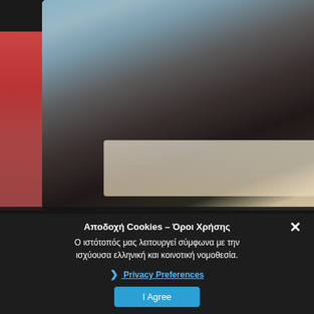[Figure (photo): Screenshot of an escort/adult website showing a woman posing on a table, with partial images visible on left and right edges]
Emi
Αποδοχή Cookies – Όροι Χρήσης
Ο ιστότοπός μας λειτουργεί σύμφωνα με την ισχύουσα ελληνική και κοινοτική νομοθεσία.
❯ Privacy Preferences
I Agree